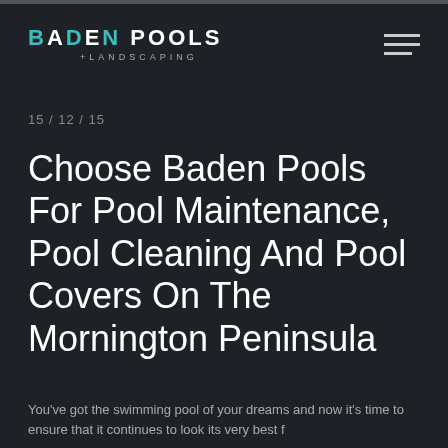BADEN POOLS + LANDSCAPING
15 / 12 / 15
Choose Baden Pools For Pool Maintenance, Pool Cleaning And Pool Covers On The Mornington Peninsula
You've got the swimming pool of your dreams and now it's time to ensure that it continues to look its very best f